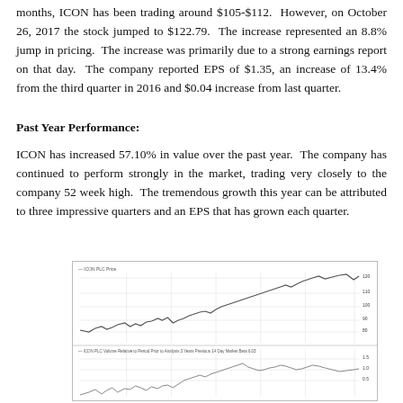months, ICON has been trading around $105-$112. However, on October 26, 2017 the stock jumped to $122.79. The increase represented an 8.8% jump in pricing. The increase was primarily due to a strong earnings report on that day. The company reported EPS of $1.35, an increase of 13.4% from the third quarter in 2016 and $0.04 increase from last quarter.
Past Year Performance:
ICON has increased 57.10% in value over the past year. The company has continued to perform strongly in the market, trading very closely to the company 52 week high. The tremendous growth this year can be attributed to three impressive quarters and an EPS that has grown each quarter.
[Figure (continuous-plot): Two-panel stock performance chart showing ICON stock price trend over the past year. Upper panel shows price rising from approximately $78 to $122 with a jagged upward trend. Lower panel shows a related metric with lower values, also trending upward toward the right.]